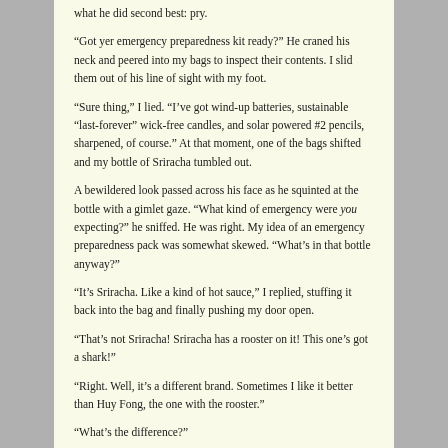what he did second best: pry.
“Got yer emergency preparedness kit ready?” He craned his neck and peered into my bags to inspect their contents. I slid them out of his line of sight with my foot.
“Sure thing,” I lied. “I’ve got wind-up batteries, sustainable “last-forever” wick-free candles, and solar powered #2 pencils, sharpened, of course.” At that moment, one of the bags shifted and my bottle of Sriracha tumbled out.
A bewildered look passed across his face as he squinted at the bottle with a gimlet gaze. “What kind of emergency were you expecting?” he sniffed. He was right. My idea of an emergency preparedness pack was somewhat skewed. “What’s in that bottle anyway?”
“It’s Sriracha. Like a kind of hot sauce,” I replied, stuffing it back into the bag and finally pushing my door open.
“That’s not Sriracha! Sriracha has a rooster on it! This one’s got a shark!”
“Right. Well, it’s a different brand. Sometimes I like it better than Huy Fong, the one with the rooster.”
“What’s the difference?”